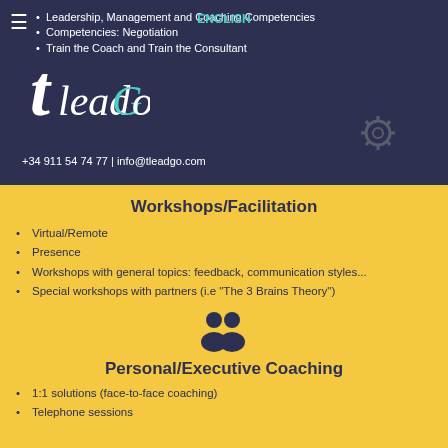Leadership, Management and Coaching Competencies
Competencies: Negotiation
Train the Coach and Train the Consultant
+34 911 54 74 77 | info@tleadgo.com
Workshops/Facilitation
Virtual/Remote
Presence
Workshops with general topics: feedback, communication styles...
Special workshops with partners (i.e "The 3 Brains Theory")
[Figure (illustration): Two people icon representing group/workshop]
Personal/Executive Coaching
1:1 solutions (face-to-face coaching)
Telephone sessions